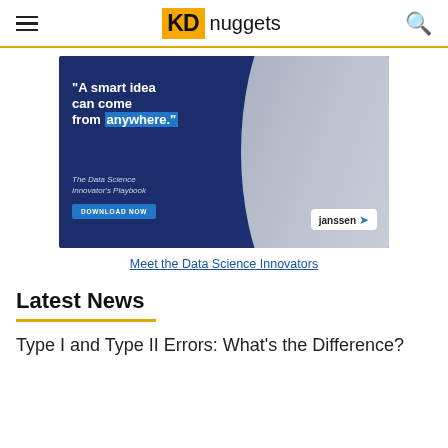KD nuggets
[Figure (illustration): Janssen Data Science Innovator's Playbook advertisement. Dark blue background with a woman in purple clothing on the right. Text reads: "A smart idea can come from anywhere." The Data Science Innovator's Playbook. DOWNLOAD NOW button. Janssen logo bottom right.]
Meet the Data Science Innovators
Latest News
Type I and Type II Errors: What's the Difference?